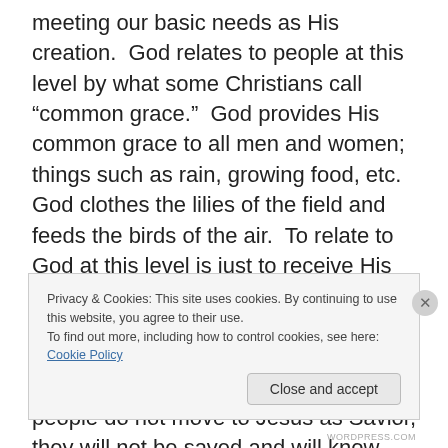meeting our basic needs as His creation.  God relates to people at this level by what some Christians call “common grace.”  God provides His common grace to all men and women; things such as rain, growing food, etc.  God clothes the lilies of the field and feeds the birds of the air.  To relate to God at this level is just to receive His common blessings.  The Creation is at this level as the creation depends on God’s provisions.  Thus those who turn from the Lord are confused.   If these people do not move to Jesus as Savior, they will not be saved and will know God in the final sense as a Righteous Judge
Privacy & Cookies: This site uses cookies. By continuing to use this website, you agree to their use.
To find out more, including how to control cookies, see here: Cookie Policy
Close and accept
WORDPRESS.COM